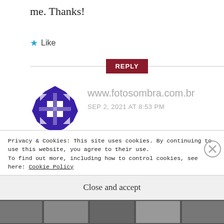me. Thanks!
★ Like
REPLY
[Figure (logo): Purple geometric quilt-pattern logo for www.fotosombra.com.br]
www.fotosombra.com.br
SEP 2, 2021 AT 8:53 PM
As the admin of this website is working, no hesitation very rapidly it will
Privacy & Cookies: This site uses cookies. By continuing to use this website, you agree to their use. To find out more, including how to control cookies, see here: Cookie Policy
Close and accept